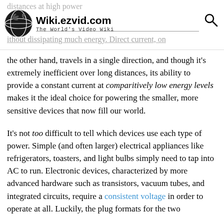Wiki.ezvid.com – The World's Video Wiki
the other hand, travels in a single direction, and though it's extremely inefficient over long distances, its ability to provide a constant current at comparitively low energy levels makes it the ideal choice for powering the smaller, more sensitive devices that now fill our world.
It's not too difficult to tell which devices use each type of power. Simple (and often larger) electrical appliances like refrigerators, toasters, and light bulbs simply need to tap into AC to run. Electronic devices, characterized by more advanced hardware such as transistors, vacuum tubes, and integrated circuits, require a consistent voltage in order to operate at all. Luckily, the plug formats for the two